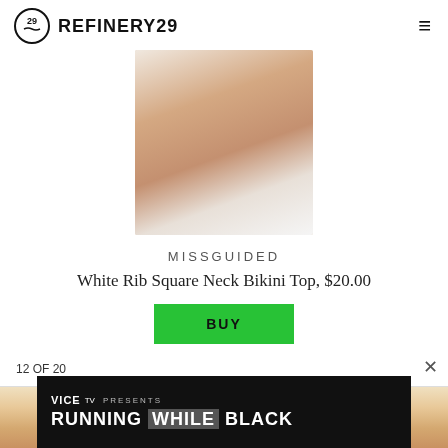REFINERY29
[Figure (photo): Back view of a model wearing a white ribbed bikini set against a light background]
MISSGUIDED
White Rib Square Neck Bikini Top, $20.00
BUY
12 OF 20
[Figure (photo): Partial preview of next slide showing a person with blonde hair]
[Figure (screenshot): VICE TV PRESENTS advertisement banner for RUNNING WHILE BLACK]